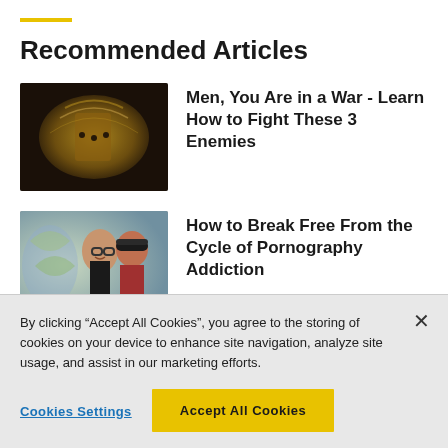Recommended Articles
[Figure (photo): Dark, dramatic photo of a warrior or armored figure with golden lighting]
Men, You Are in a War - Learn How to Fight These 3 Enemies
[Figure (photo): Young man with glasses smiling, two people interacting]
How to Break Free From the Cycle of Pornography Addiction
By clicking “Accept All Cookies”, you agree to the storing of cookies on your device to enhance site navigation, analyze site usage, and assist in our marketing efforts.
Cookies Settings
Accept All Cookies